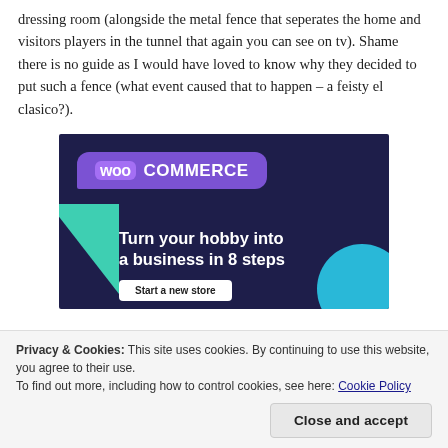dressing room (alongside the metal fence that seperates the home and visitors players in the tunnel that again you can see on tv). Shame there is no guide as I would have loved to know why they decided to put such a fence (what event caused that to happen – a feisty el clasico?).
[Figure (advertisement): WooCommerce advertisement with dark navy background, purple speech bubble logo, green triangle shape left, blue circle bottom right. Text reads: Turn your hobby into a business in 8 steps. Button: Start a new store.]
Privacy & Cookies: This site uses cookies. By continuing to use this website, you agree to their use.
To find out more, including how to control cookies, see here: Cookie Policy
will be highly interestednn in knowing where the best player on